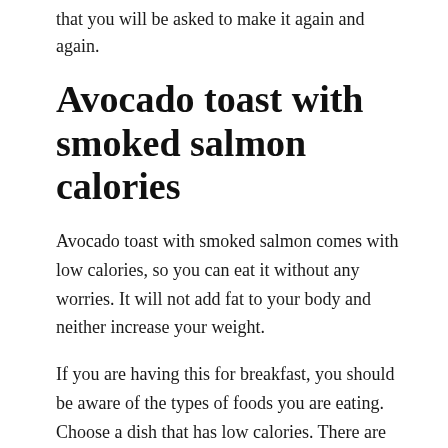that you will be asked to make it again and again.
Avocado toast with smoked salmon calories
Avocado toast with smoked salmon comes with low calories, so you can eat it without any worries. It will not add fat to your body and neither increase your weight.
If you are having this for breakfast, you should be aware of the types of foods you are eating. Choose a dish that has low calories. There are many options available to you. You can have oatmeal, yogurt, granola, or any other food that is healthy.